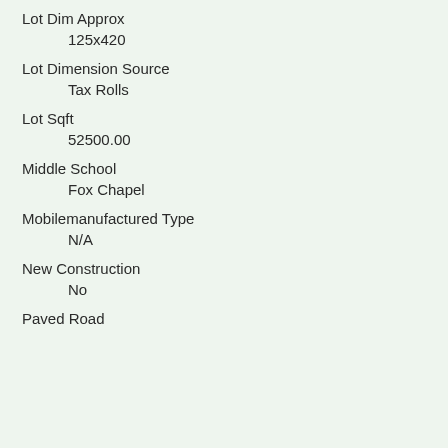Lot Dim Approx
125x420
Lot Dimension Source
Tax Rolls
Lot Sqft
52500.00
Middle School
Fox Chapel
Mobilemanufactured Type
N/A
New Construction
No
Paved Road